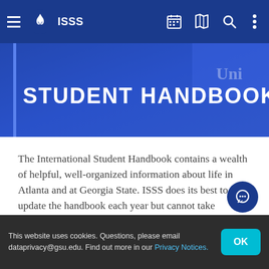ISSS
STUDENT HANDBOOK
The International Student Handbook contains a wealth of helpful, well-organized information about life in Atlanta and at Georgia State. ISSS does its best to update the handbook each year but cannot take responsibility for external information that may change without our knowledge. Please click this link to view, save or download the handbook for your information.
This website uses cookies. Questions, please email dataprivacy@gsu.edu. Find out more in our Privacy Notices.